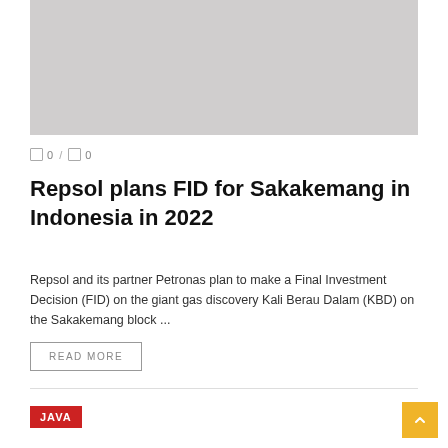[Figure (photo): Gray placeholder image at the top of the article card]
🗩 0 / 🗩 0
Repsol plans FID for Sakakemang in Indonesia in 2022
Repsol and its partner Petronas plan to make a Final Investment Decision (FID) on the giant gas discovery Kali Berau Dalam (KBD) on the Sakakemang block ...
READ MORE
JAVA